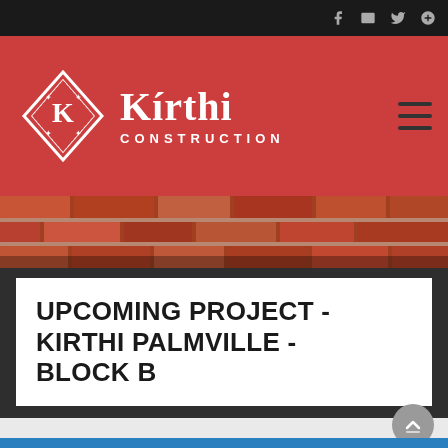[Figure (logo): Kirthi Construction logo with diamond K emblem on red background header]
[Figure (photo): Close-up photo of red brick wall texture]
UPCOMING PROJECT - KIRTHI PALMVILLE - BLOCK B
[Figure (photo): Bottom partial image showing blue background with wooden/construction elements]